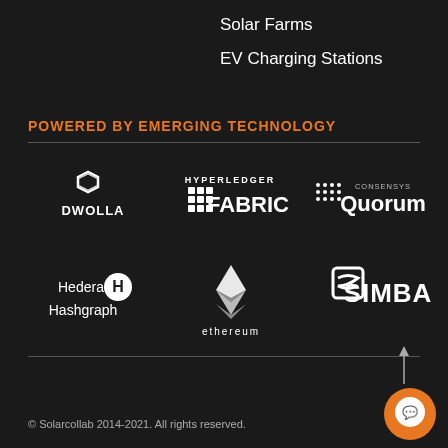Solar Farms
EV Charging Stations
POWERED BY EMERGING TECHNOLOGY
[Figure (logo): Technology partner logos: Dwolla, Hyperledger Fabric, ConsenSys Quorum, Hedera Hashgraph, Ethereum, SIMBA]
© Solarcollab 2014-2021. All rights reserved.